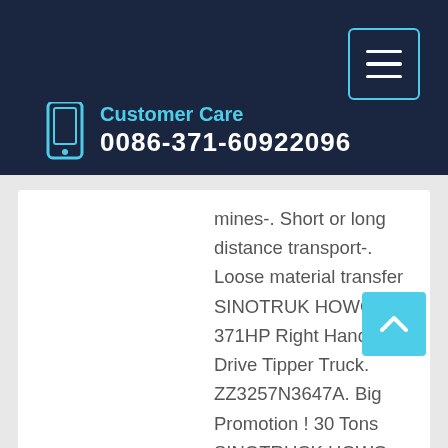Customer Care
0086-371-60922096
mines-. Short or long distance transport-. Loose material transfer SINOTRUK HOWO 6x4 371HP Right Hand Drive Tipper Truck. ZZ3257N3647A. Big Promotion ! 30 Tons SINOTRUCK HOWO 371HP Dump Truck For Ghana.
Learn More
[Figure (photo): Blue HOWO mining tipper dump truck]
70 Tons HOWO Mining Tipper Dump Truck